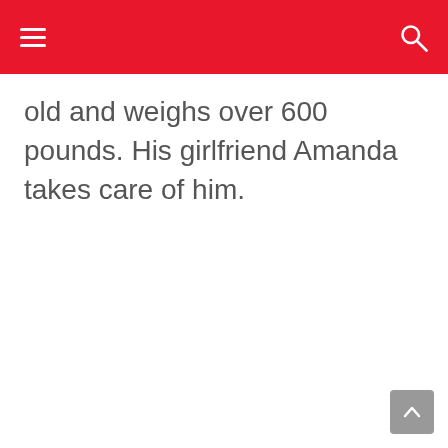old and weighs over 600 pounds. His girlfriend Amanda takes care of him.